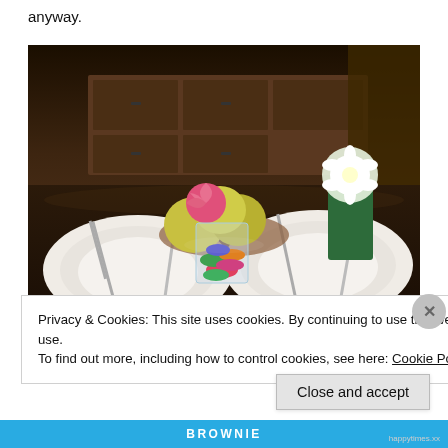anyway.
[Figure (photo): Dining table set with two white plates, forks and knives, a fruit bowl with dragon fruit and yellow fruits, a glass container with colorful macarons, and a green vase with white flowers. Dark wooden furniture in the background.]
Privacy & Cookies: This site uses cookies. By continuing to use this website, you agree to their use.
To find out more, including how to control cookies, see here: Cookie Policy
Close and accept